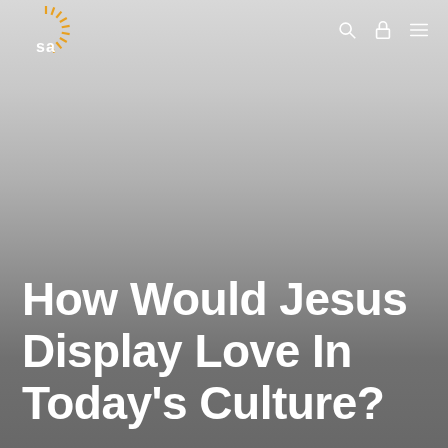[Figure (logo): SA logo with orange sunburst above white 'sa' letters on grey background]
How Would Jesus Display Love In Today's Culture?